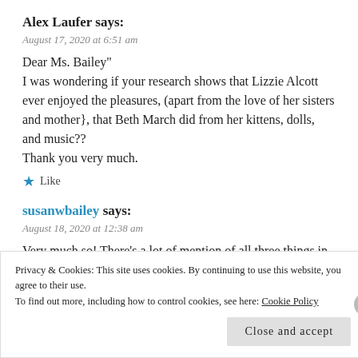Alex Laufer says:
August 17, 2020 at 6:51 am
Dear Ms. Bailey"
I was wondering if your research shows that Lizzie Alcott ever enjoyed the pleasures, (apart from the love of her sisters and mother}, that Beth March did from her kittens, dolls, and music??
Thank you very much.
★ Like
susanwbailey says:
August 18, 2020 at 12:38 am
Very much so! There's a lot of mention of all three things in her
Privacy & Cookies: This site uses cookies. By continuing to use this website, you agree to their use.
To find out more, including how to control cookies, see here: Cookie Policy
Close and accept